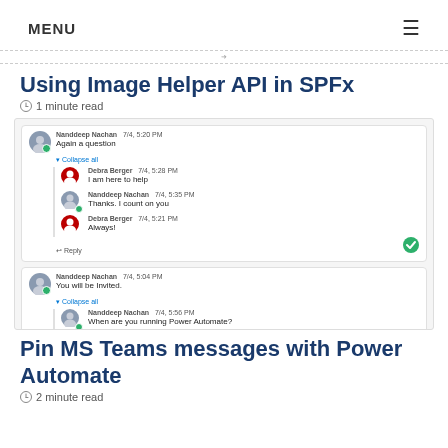MENU
Using Image Helper API in SPFx
1 minute read
[Figure (screenshot): Screenshot of Microsoft Teams-like chat interface showing two conversation threads. First thread: Nanddeep Nachan posts 'Again a question', with replies from Debra Berger ('I am here to help'), Nanddeep Nachan ('Thanks. I count on you'), Debra Berger ('Always'), and a Reply link. Second thread: Nanddeep Nachan posts 'You will be Invited', collapse link, Nanddeep Nachan thread ('When are you running Power Automate?'), Debra Berger ('I am interested to help'), and a Reply link.]
Pin MS Teams messages with Power Automate
2 minute read